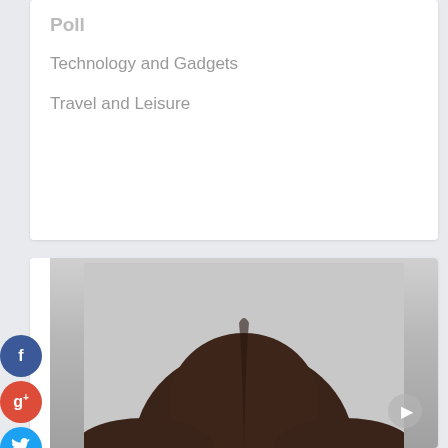Technology and Gadgets
Travel and Leisure
Author Bio
Hi I am Ellie Saltau a business analyst and part time blogger. I am crazy about gathering latest information around the world. I have started this blog to share my knowledge & experience.
[Figure (photo): Author photo showing the top of a person's head with dark brown hair against a gray background]